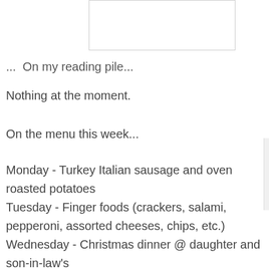[Figure (other): A rectangular input/image box with a border, partially visible at top of page]
...  On my reading pile...
Nothing at the moment.
On the menu this week...
Monday - Turkey Italian sausage and oven roasted potatoes
Tuesday - Finger foods (crackers, salami, pepperoni, assorted cheeses, chips, etc.)
Wednesday - Christmas dinner @ daughter and son-in-law's